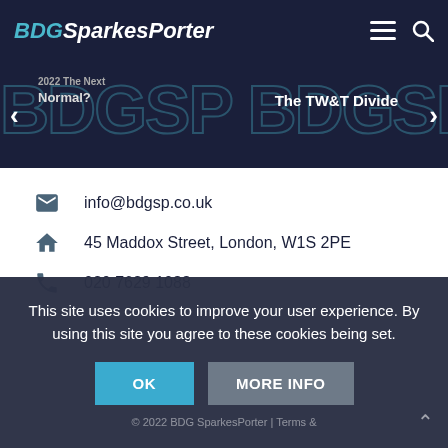BDG SparkesPorter
[Figure (screenshot): Website carousel banner with BDG SP watermark text, prev/next arrows, and two slide captions: '2022 The Next Normal?' on left and 'The TW&T Divide' on right]
info@bdgsp.co.uk
45 Maddox Street, London, W1S 2PE
020 7629 1088
This site uses cookies to improve your user experience. By using this site you agree to these cookies being set.
OK
MORE INFO
© 2022 BDG SparkesPorter | Terms &